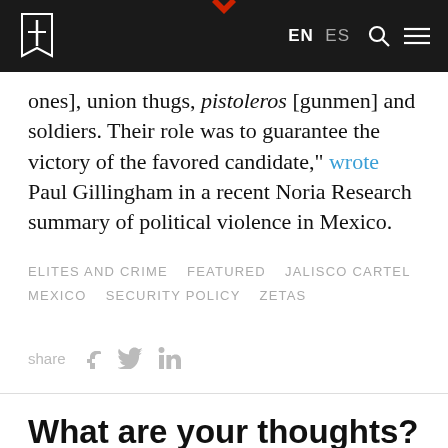InSight Crime — EN ES navigation bar with logo
ones], union thugs, pistoleros [gunmen] and soldiers. Their role was to guarantee the victory of the favored candidate," wrote Paul Gillingham in a recent Noria Research summary of political violence in Mexico.
ELITES AND CRIME   FEATURED   JALISCO CARTEL   MEXICO   SECURITY POLICY   ZETAS
share
What are your thoughts? Click here to send InSight Crime your